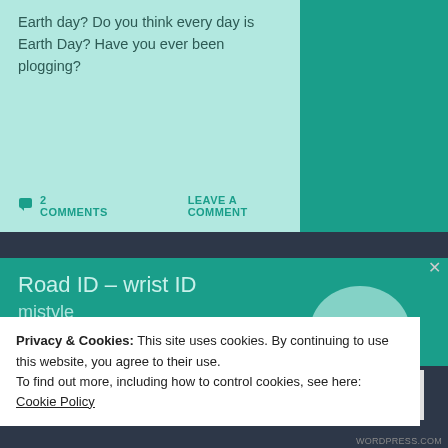Earth day? Do you think every day is Earth Day? Have you ever been plogging?
2 COMMENTS
LEAVE A COMMENT
Road ID – wrist ID
Privacy & Cookies: This site uses cookies. By continuing to use this website, you agree to their use.
To find out more, including how to control cookies, see here: Cookie Policy
Close and accept
WORDPRESS.COM